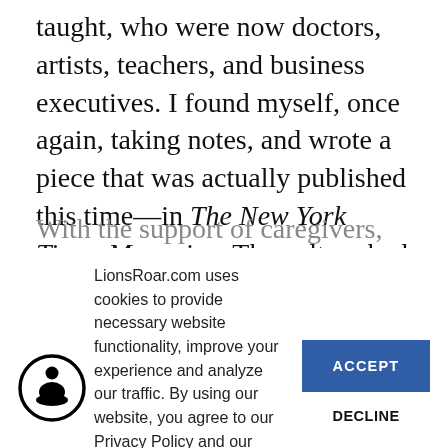taught, who were now doctors, artists, teachers, and business executives. I found myself, once again, taking notes, and wrote a piece that was actually published this time—in The New York Times Magazine. The culture had caught up with Ram Dass.
With the support of caregivers, he began traveling...
[Figure (illustration): Circular icon with a silhouette of a seated meditating figure in black on white background with black circular border — LionsRoar.com logo/avatar]
LionsRoar.com uses cookies to provide necessary website functionality, improve your experience and analyze our traffic. By using our website, you agree to our Privacy Policy and our cookies usage.
ACCEPT
DECLINE